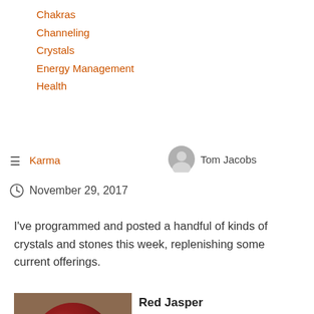Chakras
Channeling
Crystals
Energy Management
Health
Karma
Tom Jacobs
November 29, 2017
I've programmed and posted a handful of kinds of crystals and stones this week, replenishing some current offerings.
Red Jasper
[Figure (photo): A hand holding a polished red jasper sphere stone]
Use programmed red jasper to find and release energies and emotions of others that you might be carrying, whether from current or past relationships or just from general life in the world.